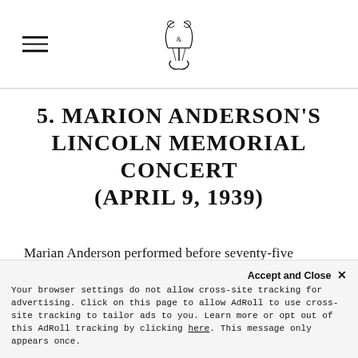[hamburger menu icon] [lyre logo]
5. MARION ANDERSON'S LINCOLN MEMORIAL CONCERT (APRIL 9, 1939)
Marian Anderson performed before seventy-five thousand people at the Lincoln Memorial in what has been called the first-ever public protest concert in America. Such a singular venue and mammoth crowd would have
Accept and Close ×
Your browser settings do not allow cross-site tracking for advertising. Click on this page to allow AdRoll to use cross-site tracking to tailor ads to you. Learn more or opt out of this AdRoll tracking by clicking here. This message only appears once.